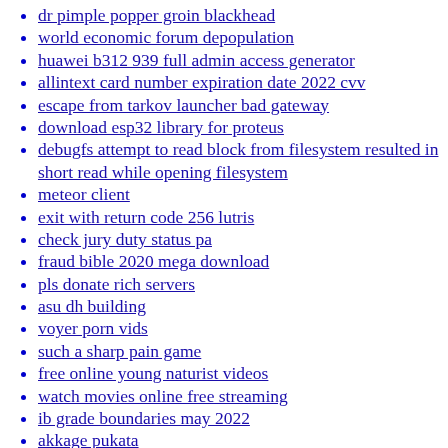dr pimple popper groin blackhead
world economic forum depopulation
huawei b312 939 full admin access generator
allintext card number expiration date 2022 cvv
escape from tarkov launcher bad gateway
download esp32 library for proteus
debugfs attempt to read block from filesystem resulted in short read while opening filesystem
meteor client
exit with return code 256 lutris
check jury duty status pa
fraud bible 2020 mega download
pls donate rich servers
asu dh building
voyer porn vids
such a sharp pain game
free online young naturist videos
watch movies online free streaming
ib grade boundaries may 2022
akkage pukata
amateur exhib wife video
nba 2k14 mod 2022
leaked btc private keys with balance
free amateur wife sex tubes
pandrama audio latino